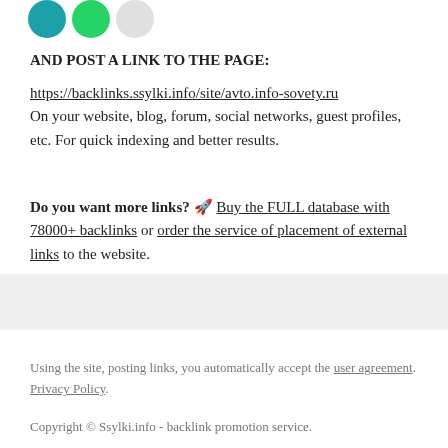[Figure (illustration): Three circular social media icon buttons (teal, green, light gray) partially visible at the top]
AND POST A LINK TO THE PAGE:
https://backlinks.ssylki.info/site/avto.info-sovety.ru
On your website, blog, forum, social networks, guest profiles, etc. For quick indexing and better results.
Do you want more links? 🚀 Buy the FULL database with 78000+ backlinks or order the service of placement of external links to the website.
Using the site, posting links, you automatically accept the user agreement. Privacy Policy.
Copyright © Ssylki.info - backlink promotion service.